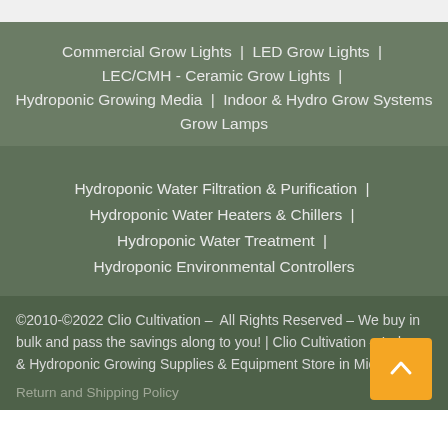Commercial Grow Lights | LED Grow Lights | LEC/CMH - Ceramic Grow Lights | Hydroponic Growing Media | Indoor & Hydro Grow Systems | Grow Lamps
Hydroponic Water Filtration & Purification | Hydroponic Water Heaters & Chillers | Hydroponic Water Treatment | Hydroponic Environmental Controllers
©2010-©2022 Clio Cultivation – All Rights Reserved – We buy in bulk and pass the savings along to you! | Clio Cultivation – Indoor & Hydroponic Growing Supplies & Equipment Store in Michigan
Return and Shipping Policy